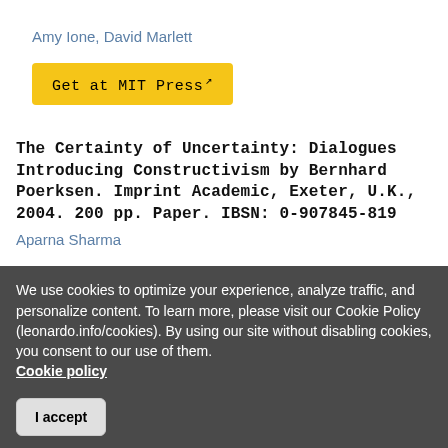Amy Ione, David Marlett
Get at MIT Press
The Certainty of Uncertainty: Dialogues Introducing Constructivism by Bernhard Poerksen. Imprint Academic, Exeter, U.K., 2004. 200 pp. Paper. IBSN: 0-907845-819
Aparna Sharma
Get at MIT Press
IT Project Proposals: Writing to Win by Paul Coombs. Cambridge Univ. Press. Cambridge.
We use cookies to optimize your experience, analyze traffic, and personalize content. To learn more, please visit our Cookie Policy (leonardo.info/cookies). By using our site without disabling cookies, you consent to our use of them. Cookie policy
I accept